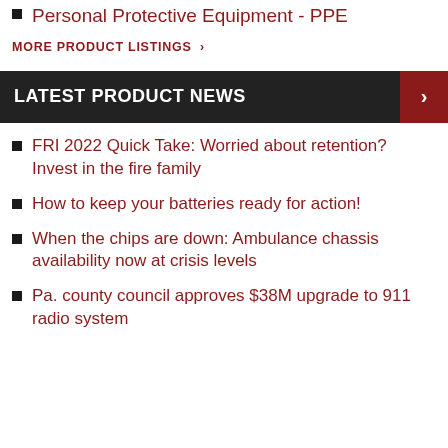Personal Protective Equipment - PPE
MORE PRODUCT LISTINGS >
LATEST PRODUCT NEWS
FRI 2022 Quick Take: Worried about retention? Invest in the fire family
How to keep your batteries ready for action!
When the chips are down: Ambulance chassis availability now at crisis levels
Pa. county council approves $38M upgrade to 911 radio system